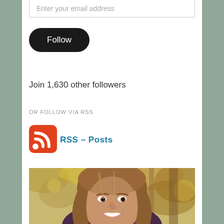Enter your email address
Follow
Join 1,630 other followers
OR FOLLOW VIA RSS
[Figure (logo): RSS feed icon - red rounded square with white RSS signal waves]
RSS – Posts
[Figure (photo): Portrait photo of a smiling woman with long wavy auburn/blonde hair, wearing a dark purple top, photographed outdoors with blurred autumn foliage background]